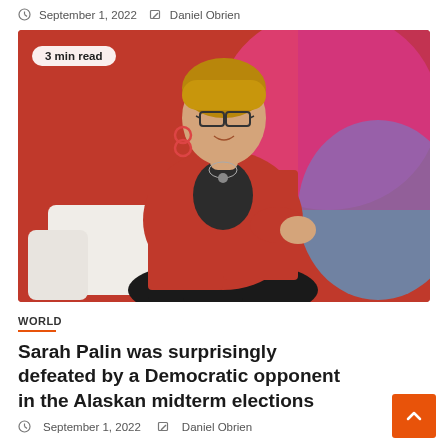September 1, 2022  Daniel Obrien
[Figure (photo): Woman in red blazer seated on white couch, gesturing, colorful background. Badge reads '3 min read'.]
WORLD
Sarah Palin was surprisingly defeated by a Democratic opponent in the Alaskan midterm elections
September 1, 2022  Daniel Obrien